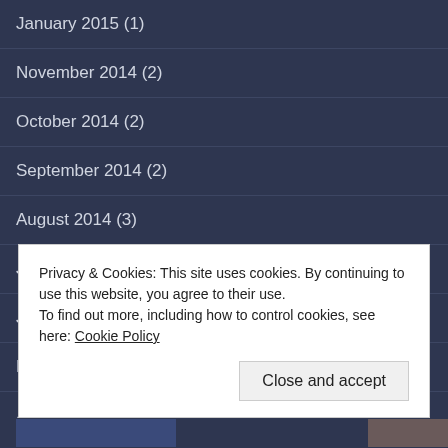January 2015 (1)
November 2014 (2)
October 2014 (2)
September 2014 (2)
August 2014 (3)
July 2014 (5)
June 2014 (4)
May 2014 (3)
April 2014 (5)
Privacy & Cookies: This site uses cookies. By continuing to use this website, you agree to their use.
To find out more, including how to control cookies, see here: Cookie Policy
Close and accept